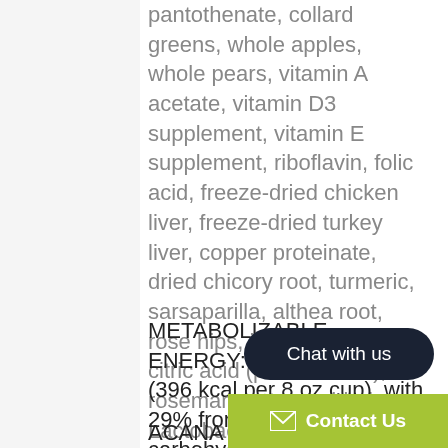pantothenate, collard greens, whole apples, whole pears, vitamin A acetate, vitamin D3 supplement, vitamin E supplement, riboflavin, folic acid, freeze-dried chicken liver, freeze-dried turkey liver, copper proteinate, dried chicory root, turmeric, sarsaparilla, althea root, rose hips, juniper berries, citric acid (preservative), rosemary extract, dried Lactobacillus acidophilus fermentation product, dried Bifidobacterium animalis fermentation product, dried Lactobacillus casei fermentation product.
METABOLIZABLE ENERGY: 3475 kcal/kg (396 kcal per 8 oz cup), with 29% from protein, 29% from carbohydrates, and 42% from fat.
ACANA Free-Run Poultry Re... formulated to meet the nut... levels established by the AA...